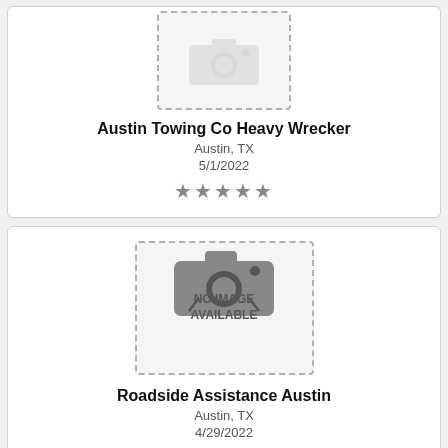[Figure (other): Placeholder image box with dashed border showing NO IMAGE AVAILABLE for Austin Towing Co Heavy Wrecker listing]
Austin Towing Co Heavy Wrecker
Austin, TX
5/1/2022
[Figure (other): Five star rating icons in gray]
[Figure (other): Placeholder image box with dashed border showing NO IMAGE AVAILABLE for Roadside Assistance Austin listing]
Roadside Assistance Austin
Austin, TX
4/29/2022